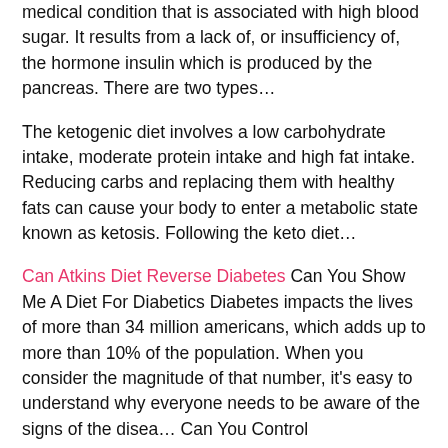medical condition that is associated with high blood sugar. It results from a lack of, or insufficiency of, the hormone insulin which is produced by the pancreas. There are two types…
The ketogenic diet involves a low carbohydrate intake, moderate protein intake and high fat intake. Reducing carbs and replacing them with healthy fats can cause your body to enter a metabolic state known as ketosis. Following the keto diet…
Can Atkins Diet Reverse Diabetes Can You Show Me A Diet For Diabetics Diabetes impacts the lives of more than 34 million americans, which adds up to more than 10% of the population. When you consider the magnitude of that number, it's easy to understand why everyone needs to be aware of the signs of the disea… Can You Control
Do you or someone you know suffer from diabetes? This is a condition in which your body doesn't produce or use